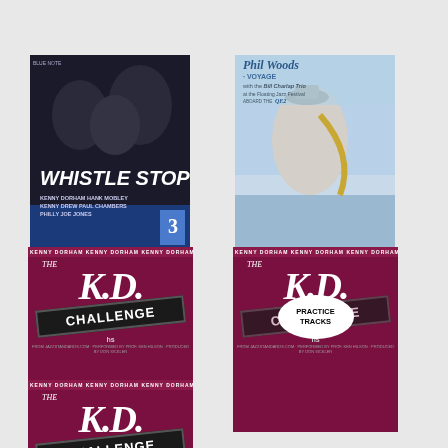[Figure (illustration): Album cover for Whistle Stop by Kenny Dorham featuring Blue Note style photo of jazz musicians]
[Figure (illustration): Album cover for Phil Woods Voyage with the Bill Charlap Trio at the Floating Jazz Festival aboard the QE2, showing Phil Woods with saxophone]
[Figure (illustration): The K.D. Challenge promotional card with maroon background, white italic KD letters, and CHALLENGE box]
[Figure (illustration): The K.D. Challenge Practice Tracks promotional card with maroon background and oval Practice Tracks badge]
[Figure (illustration): The K.D. Extra Challenge promotional card with maroon background and Extra sticker overlay]